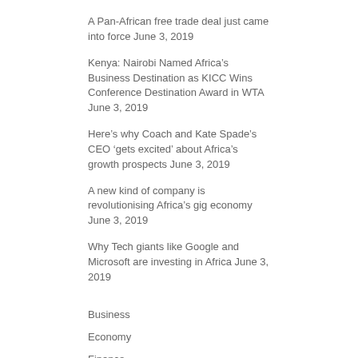A Pan-African free trade deal just came into force June 3, 2019
Kenya: Nairobi Named Africa’s Business Destination as KICC Wins Conference Destination Award in WTA June 3, 2019
Here’s why Coach and Kate Spade’s CEO ‘gets excited’ about Africa’s growth prospects June 3, 2019
A new kind of company is revolutionising Africa’s gig economy June 3, 2019
Why Tech giants like Google and Microsoft are investing in Africa June 3, 2019
Business
Economy
Finance
Technology
Travel